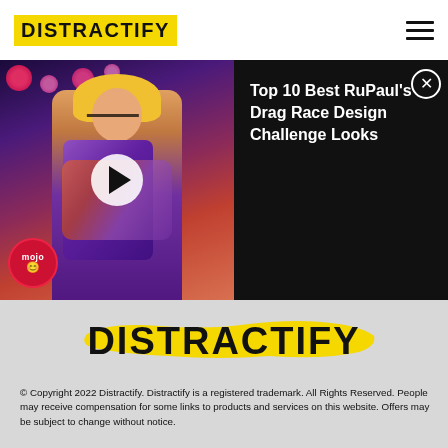DISTRACTIFY
[Figure (screenshot): Video thumbnail showing a drag performer with a MojoTop10 badge, alongside a dark panel with video title 'Top 10 Best RuPaul's Drag Race Design Challenge Looks' and a close button]
[Figure (logo): Distractify logo — bold black uppercase text on yellow brush-stroke background]
© Copyright 2022 Distractify. Distractify is a registered trademark. All Rights Reserved. People may receive compensation for some links to products and services on this website. Offers may be subject to change without notice.